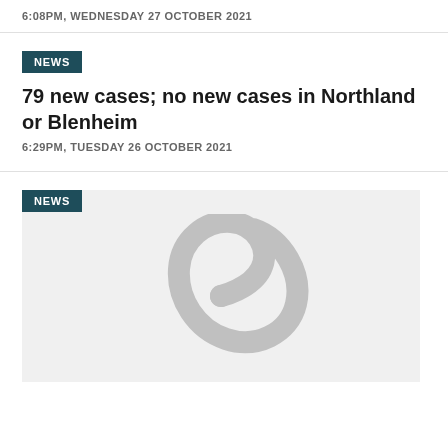6:08PM, WEDNESDAY 27 OCTOBER 2021
NEWS
79 new cases; no new cases in Northland or Blenheim
6:29PM, TUESDAY 26 OCTOBER 2021
NEWS
[Figure (logo): Grey koru spiral logo placeholder image on light grey background]